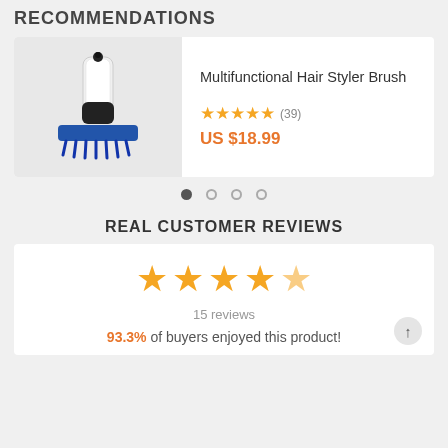RECOMMENDATIONS
[Figure (photo): Multifunctional Hair Styler Brush product image on light grey background]
Multifunctional Hair Styler Brush
★★★★★ (39)
US $18.99
[Figure (infographic): Carousel navigation dots: one filled circle and three empty circles]
REAL CUSTOMER REVIEWS
[Figure (infographic): Five large star rating display (approximately 4.5 out of 5 stars)]
15 reviews
93.3% of buyers enjoyed this product!